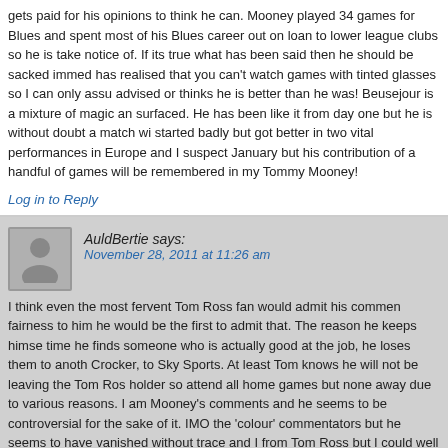gets paid for his opinions to think he can. Mooney played 34 games for Blues and spent most of his Blues career out on loan to lower league clubs so he is take notice of. If its true what has been said then he should be sacked immed has realised that you can't watch games with tinted glasses so I can only assu advised or thinks he is better than he was! Beusejour is a mixture of magic a surfaced. He has been like it from day one but he is without doubt a match wi started badly but got better in two vital performances in Europe and I suspect January but his contribution of a handful of games will be remembered in my Tommy Mooney!
Log in to Reply
AuldBertie says:
November 28, 2011 at 11:26 am
I think even the most fervent Tom Ross fan would admit his commen fairness to him he would be the first to admit that. The reason he keeps himse time he finds someone who is actually good at the job, he loses them to anoth Crocker, to Sky Sports. At least Tom knows he will not be leaving the Tom Ros holder so attend all home games but none away due to various reasons. I am Mooney's comments and he seems to be controversial for the sake of it. IMO the 'colour' commentators but he seems to have vanished without trace and I from Tom Ross but I could well have missed it. None of the others who have f Paul Devlin; Ian Atkins; Darren Carter and Ian Clarkson, have displayed the m seem a particular trait of Mooney's. As for preferring to listen to WM: good luc order for this station which seems to concentrate on Wolves and Villa these d